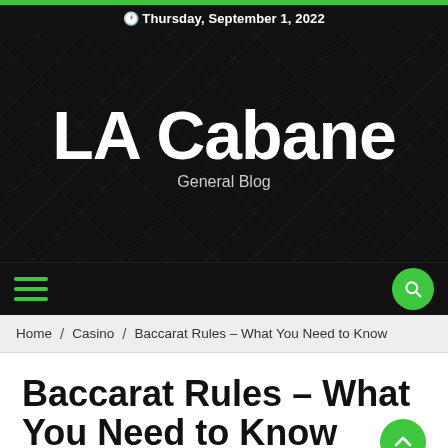Thursday, September 1, 2022
LA Cabane
General Blog
[Figure (other): Hamburger menu icon (three green horizontal lines) and green circular search button with magnifying glass icon]
Home / Casino / Baccarat Rules – What You Need to Know
Baccarat Rules – What You Need to Know